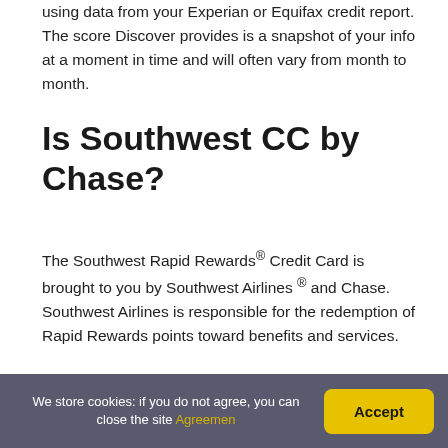using data from your Experian or Equifax credit report. The score Discover provides is a snapshot of your info at a moment in time and will often vary from month to month.
Is Southwest CC by Chase?
The Southwest Rapid Rewards® Credit Card is brought to you by Southwest Airlines ® and Chase. Southwest Airlines is responsible for the redemption of Rapid Rewards points toward benefits and services.
What is the $75
We store cookies: if you do not agree, you can close the site Agreemen
Accept